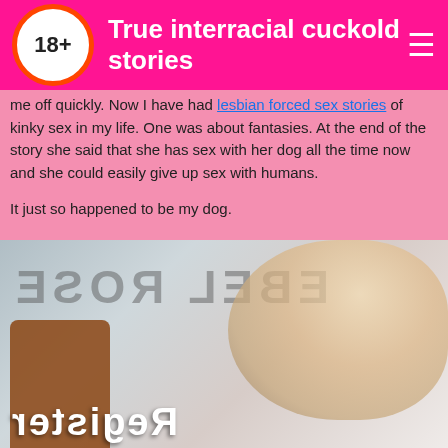True interracial cuckold stories
me off quickly. Now I have had lesbian forced sex stories of kinky sex in my life. One was about fantasies. At the end of the story she said that she has sex with her dog all the time now and she could easily give up sex with humans.
It just so happened to be my dog.
[Figure (photo): Mirrored/reversed image showing text 'EBEL ROSE' backwards and a blonde woman's face with overlaid 'Register' text mirrored]